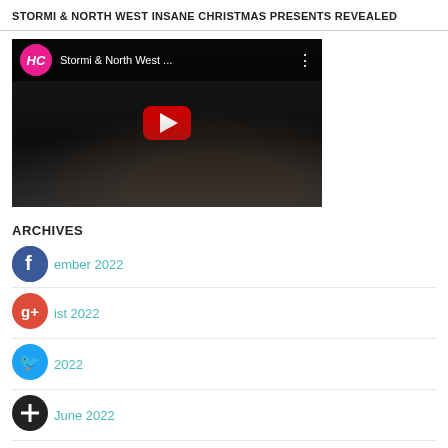STORMI & NORTH WEST INSANE CHRISTMAS PRESENTS REVEALED
[Figure (screenshot): YouTube embedded video thumbnail showing 'Stormi & North West ...' with HC channel logo, play button, and dark video background]
ARCHIVES
September 2022
August 2022
2022
June 2022
May 2022
April 2022